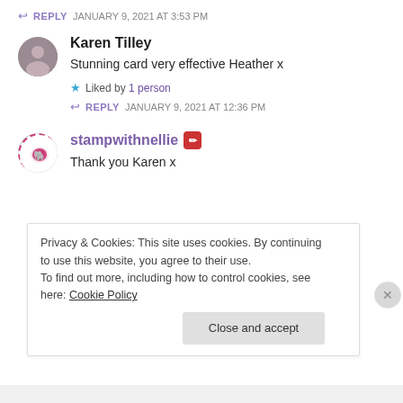↩ REPLY   JANUARY 9, 2021 AT 3:53 PM
Karen Tilley
Stunning card very effective Heather x
★ Liked by 1 person
↩ REPLY   JANUARY 9, 2021 AT 12:36 PM
stampwithnellie
Thank you Karen x
Privacy & Cookies: This site uses cookies. By continuing to use this website, you agree to their use.
To find out more, including how to control cookies, see here: Cookie Policy
Close and accept